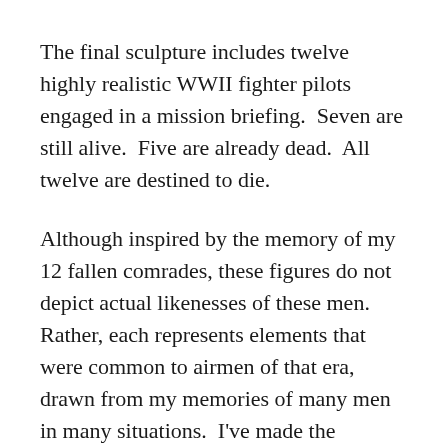The final sculpture includes twelve highly realistic WWII fighter pilots engaged in a mission briefing. Seven are still alive. Five are already dead. All twelve are destined to die.
Although inspired by the memory of my 12 fallen comrades, these figures do not depict actual likenesses of these men. Rather, each represents elements that were common to airmen of that era, drawn from my memories of many men in many situations. I've made the characteristics of each man as accurate as my memory and research permits. Each figure, however, represents an airman that could have served in any theater of WWII.
As you read through each of the twelve figures